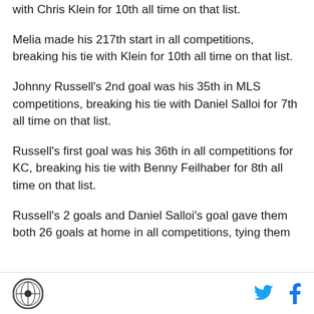with Chris Klein for 10th all time on that list.
Melia made his 217th start in all competitions, breaking his tie with Klein for 10th all time on that list.
Johnny Russell's 2nd goal was his 35th in MLS competitions, breaking his tie with Daniel Salloi for 7th all time on that list.
Russell's first goal was his 36th in all competitions for KC, breaking his tie with Benny Feilhaber for 8th all time on that list.
Russell's 2 goals and Daniel Salloi's goal gave them both 26 goals at home in all competitions, tying them
[logo] [twitter] [facebook]